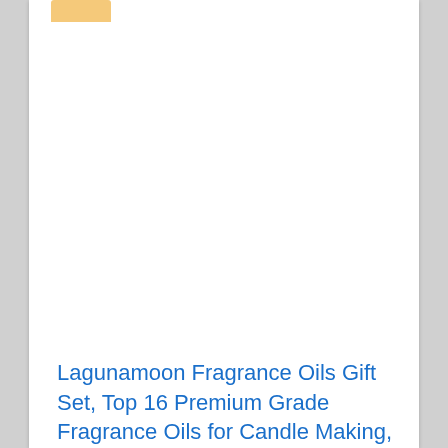[Figure (photo): Product image area for fragrance oils gift set, shown as white/blank space with a tan/gold folder tab at top left corner]
Lagunamoon Fragrance Oils Gift Set, Top 16 Premium Grade Fragrance Oils for Candle Making, Soap Making, Diffuser,